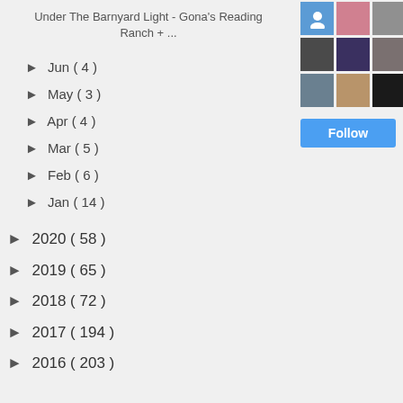Under The Barnyard Light - Gona's Reading Ranch + ...
► Jun ( 4 )
► May ( 3 )
► Apr ( 4 )
► Mar ( 5 )
► Feb ( 6 )
► Jan ( 14 )
► 2020 ( 58 )
► 2019 ( 65 )
► 2018 ( 72 )
► 2017 ( 194 )
► 2016 ( 203 )
[Figure (photo): Grid of user profile avatar photos, 3 columns by 3 rows, some color some black and white, followed by a blue Follow button]